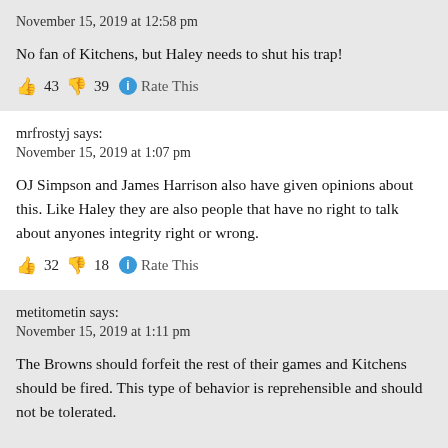November 15, 2019 at 12:58 pm
No fan of Kitchens, but Haley needs to shut his trap!
👍 43 👎 39 ℹ Rate This
mrfrostyj says:
November 15, 2019 at 1:07 pm
OJ Simpson and James Harrison also have given opinions about this. Like Haley they are also people that have no right to talk about anyones integrity right or wrong.
👍 32 👎 18 ℹ Rate This
metitometin says:
November 15, 2019 at 1:11 pm
The Browns should forfeit the rest of their games and Kitchens should be fired. This type of behavior is reprehensible and should not be tolerated.